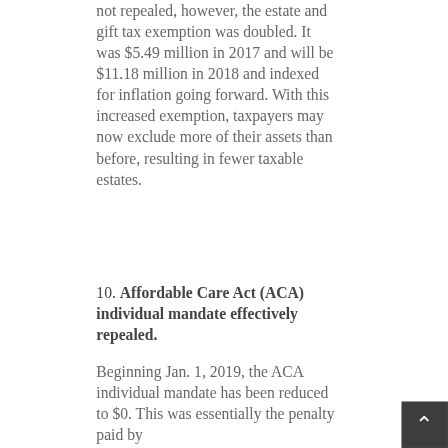not repealed, however, the estate and gift tax exemption was doubled. It was $5.49 million in 2017 and will be $11.18 million in 2018 and indexed for inflation going forward. With this increased exemption, taxpayers may now exclude more of their assets than before, resulting in fewer taxable estates.
10. Affordable Care Act (ACA) individual mandate effectively repealed.
Beginning Jan. 1, 2019, the ACA individual mandate has been reduced to $0. This was essentially the penalty paid by